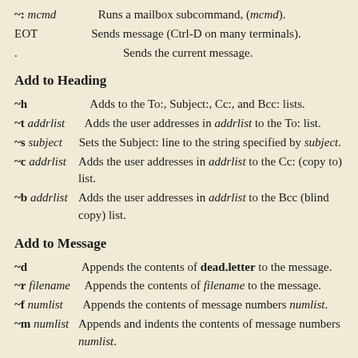~: mcmd Runs a mailbox subcommand, (mcmd).
EOT Sends message (Ctrl-D on many terminals).
. Sends the current message.
Add to Heading
~h Adds to the To:, Subject:, Cc:, and Bcc: lists.
~t addrlist Adds the user addresses in addrlist to the To: list.
~s subject Sets the Subject: line to the string specified by subject.
~c addrlist Adds the user addresses in addrlist to the Cc: (copy to) list.
~b addrlist Adds the user addresses in addrlist to the Bcc (blind copy) list.
Add to Message
~d Appends the contents of dead.letter to the message.
~r filename Appends the contents of filename to the message.
~f numlist Appends the contents of message numbers numlist.
~m numlist Appends and indents the contents of message numbers numlist.